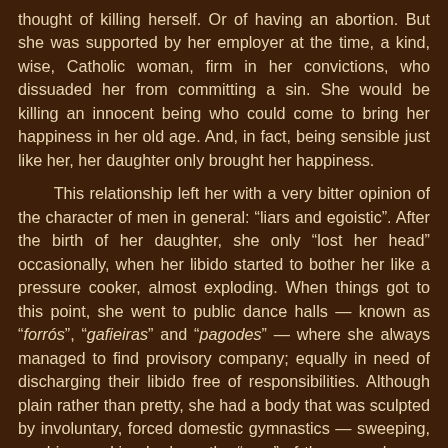thought of killing herself. Or of having an abortion. But she was supported by her employer at the time, a kind, wise, Catholic woman, firm in her convictions, who dissuaded her from committing a sin. She would be killing an innocent being who could come to bring her happiness in her old age. And, in fact, being sensible just like her, her daughter only brought her happiness.

This relationship left her with a very bitter opinion of the character of men in general: “liars and egoistic”. After the birth of her daughter, she only “lost her head” occasionally, when her libido started to bother her like a pressure cooker, almost exploding. When things got to this point, she went to public dance halls — known as “forrós”, “gafieiras” and “pagodes” — where she always managed to find provisory company; equally in need of discharging their libido free of responsibilities. Although plain rather than pretty, she had a body that was sculpted by involuntary, forced domestic gymnastics — sweeping, washing, making beds — the “gym” of the poor who are paid to “work out”